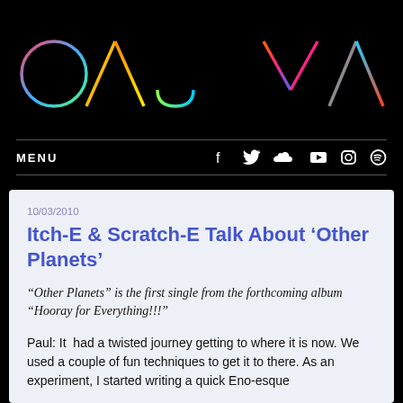[Figure (logo): Paul Mac logo in colorful outlined letters on black background]
MENU  [social icons: Facebook, Twitter, SoundCloud, YouTube, Instagram, Spotify]
10/03/2010
Itch-E & Scratch-E Talk About ‘Other Planets’
“Other Planets” is the first single from the forthcoming album “Hooray for Everything!!!”
Paul: It  had a twisted journey getting to where it is now. We used a couple of fun techniques to get it to there. As an experiment, I started writing a quick Eno-esque